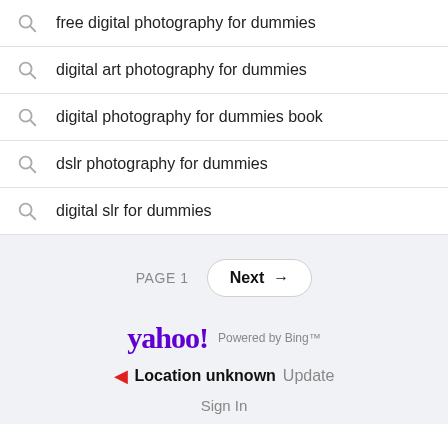free digital photography for dummies
digital art photography for dummies
digital photography for dummies book
dslr photography for dummies
digital slr for dummies
PAGE 1
Next →
[Figure (logo): Yahoo! logo with 'Powered by Bing™' text beside it]
▶ Location unknown  Update
Sign In